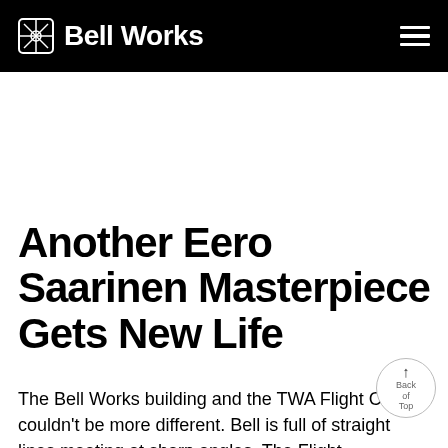Bell Works
Another Eero Saarinen Masterpiece Gets New Life
The Bell Works building and the TWA Flight Center couldn't be more different. Bell is full of straight lines meeting at sharp angles. The Flight